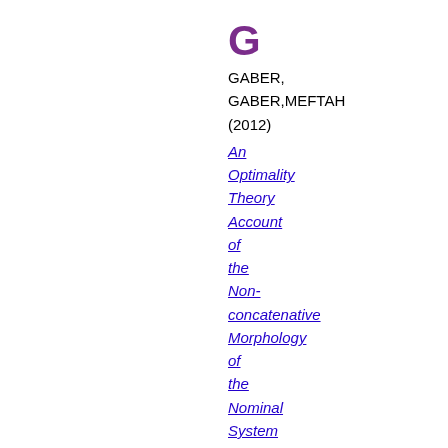G
GABER,
GABER,MEFTAH
(2012)
An Optimality Theory Account of the Non-concatenative Morphology of the Nominal System of Libyan Arabic, with